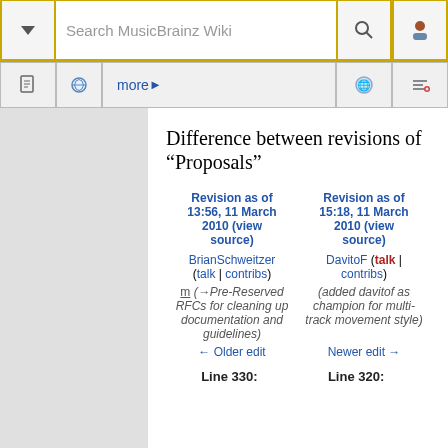Search MusicBrainz Wiki
Difference between revisions of "Proposals"
| Revision as of 13:56, 11 March 2010 (view source) | Revision as of 15:18, 11 March 2010 (view source) |
| --- | --- |
| BrianSchweitzer (talk | contribs) | DavitoF (talk | contribs) |
| m (→Pre-Reserved RFCs for cleaning up documentation and guidelines) | (added davitof as champion for multi-track movement style) |
| ← Older edit | Newer edit → |
Line 330:
Line 320: